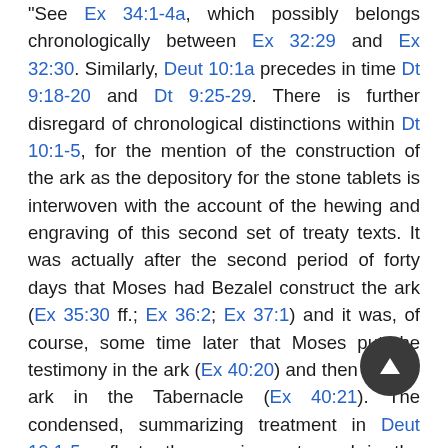"See Ex 34:1-4a, which possibly belongs chronologically between Ex 32:29 and Ex 32:30. Similarly, Deut 10:1a precedes in time Dt 9:18-20 and Dt 9:25-29. There is further disregard of chronological distinctions within Dt 10:1-5, for the mention of the construction of the ark as the depository for the stone tablets is interwoven with the account of the hewing and engraving of this second set of treaty texts. It was actually after the second period of forty days that Moses had Bezalel construct the ark (Ex 35:30 ff.; Ex 36:2; Ex 37:1) and it was, of course, some time later that Moses put the testimony in the ark (Ex 40:20) and then put the ark in the Tabernacle (Ex 40:21). The condensed, summarizing treatment in Deut 10:1-5 reflects the requirements and in the international suzerainty treaties that the duplicate covenant texts were to be deposited in the sanctuaries of the two covenant parties